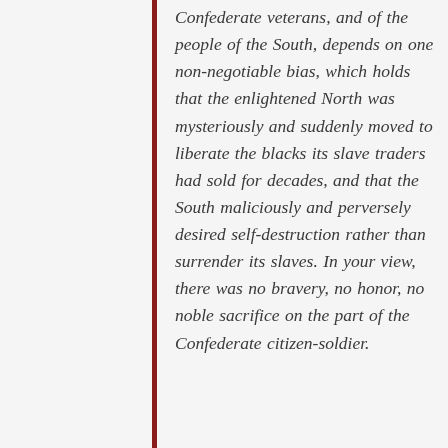Confederate veterans, and of the people of the South, depends on one non-negotiable bias, which holds that the enlightened North was mysteriously and suddenly moved to liberate the blacks its slave traders had sold for decades, and that the South maliciously and perversely desired self-destruction rather than surrender its slaves. In your view, there was no bravery, no honor, no noble sacrifice on the part of the Confederate citizen-soldier.